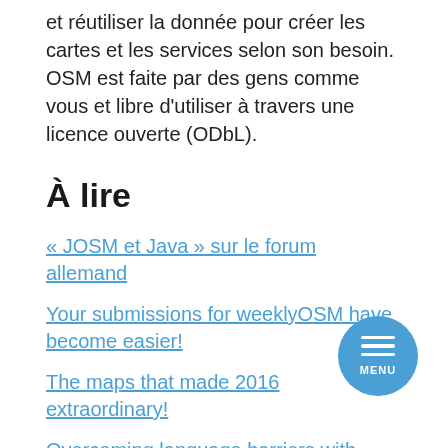et réutiliser la donnée pour créer les cartes et les services selon son besoin. OSM est faite par des gens comme vous et libre d'utiliser à travers une licence ouverte (ODbL).
À lire
« JOSM et Java » sur le forum allemand
Your submissions for weeklyOSM have become easier!
The maps that made 2016 extraordinary!
Overcoming language barriers with OpenStreetMap
WP OSM Plugin – a free WordPress plugin for map
Weekly Feminist Bl... (partial, cut off)
[Figure (other): Circular blue menu button with three horizontal white lines and MENU label]